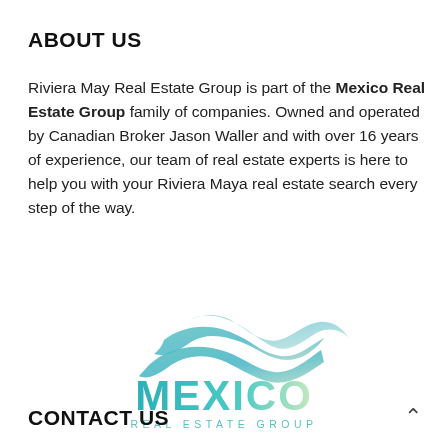ABOUT US
Riviera May Real Estate Group is part of the Mexico Real Estate Group family of companies. Owned and operated by Canadian Broker Jason Waller and with over 16 years of experience, our team of real estate experts is here to help you with your Riviera Maya real estate search every step of the way.
[Figure (logo): Mexico Real Estate Group logo with teal wave graphic above the text MEXICO in large teal gradient letters, and REAL ESTATE GROUP in smaller spaced letters below]
CONTACT US